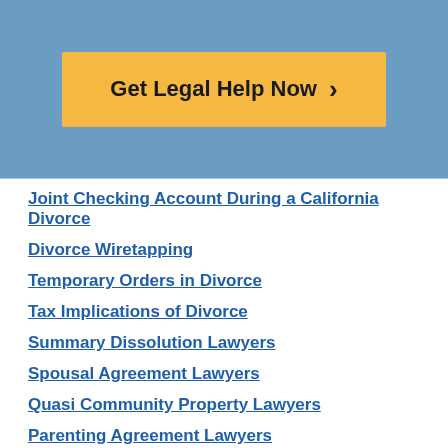[Figure (other): Blue banner with orange CTA button labeled 'Get Legal Help Now >']
Joint Checking Account During a California Divorce
Divorce Wiretapping
Temporary Orders in Divorce
Tax Implications of Divorce
Summary Dissolution Lawyers
Spousal Agreement Lawyers
Quasi Community Property Lawyers
Parenting Agreement Lawyers
Palimony Lawyers
Forensic Accounting Law
Types of Insurance to Consider During Divorce
Modifying Divorce Terms (partially visible)